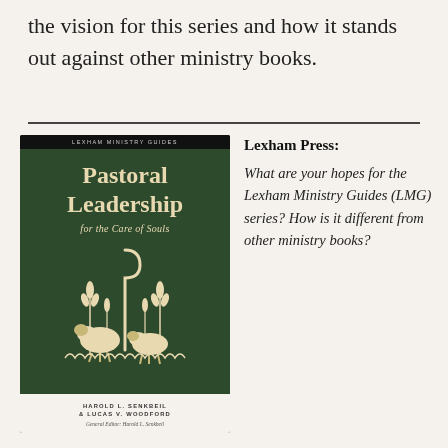the vision for this series and how it stands out against other ministry books.
[Figure (photo): Book cover of 'Pastoral Leadership for the Care of Souls' from the Lexham Ministry Guides series, by Harold L. Senkbeil & Lucas V. Woodford, General Editor: Harold L. Senkbeil. Dark green cover with cream-colored decorative illustration of a shepherd's crook, wheat stalks, and sheep.]
Lexham Press: What are your hopes for the Lexham Ministry Guides (LMG) series? How is it different from other ministry books?